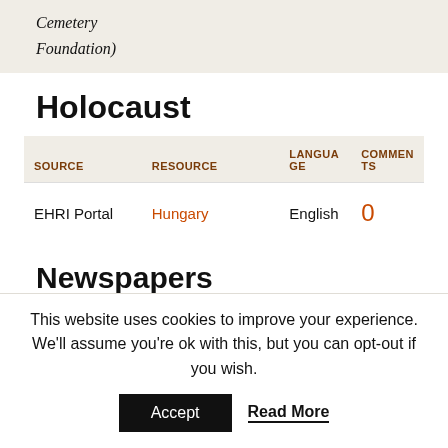Cemetery
Foundation)
Holocaust
| SOURCE | RESOURCE | LANGUAGE | COMMENTS |
| --- | --- | --- | --- |
| EHRI Portal | Hungary | English | 0 |
Newspapers
| LANGUAGE | COMMENTS |
| --- | --- |
This website uses cookies to improve your experience. We'll assume you're ok with this, but you can opt-out if you wish.
Accept   Read More